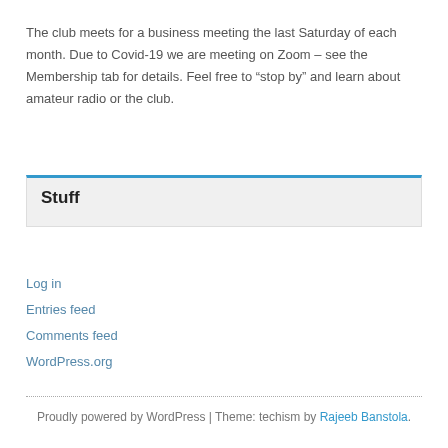The club meets for a business meeting the last Saturday of each month. Due to Covid-19 we are meeting on Zoom – see the Membership tab for details. Feel free to “stop by” and learn about amateur radio or the club.
Stuff
Log in
Entries feed
Comments feed
WordPress.org
Proudly powered by WordPress | Theme: techism by Rajeeb Banstola.